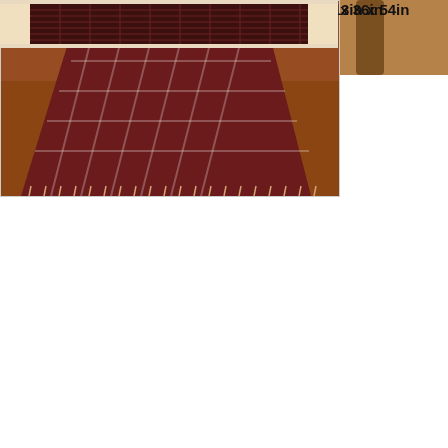[Figure (photo): Partial view of a wooden chair with a woven plaid table runner - Hartwick style]
Park Designs Runner - Hartwick - 13in x 36in
$11.99
[Figure (photo): Red and cream plaid table runner with fringe ends laid on a wooden table - Sturbridge Wine style]
Park Designs Runner - Sturbridge Wine - 13in x 54in
$17.99
[Figure (photo): Flat lay of a dark plaid table runner with text border details]